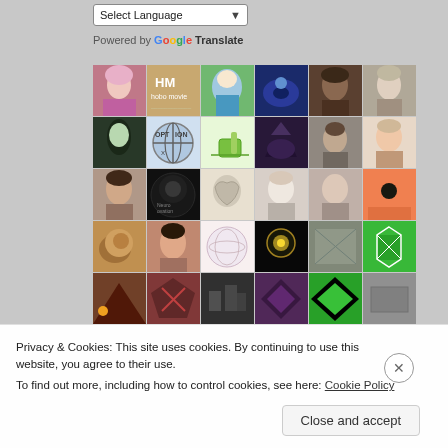[Figure (screenshot): Select Language dropdown widget with Google Translate branding and a grid of user avatar thumbnails from a blog/social platform, overlaid by a cookie consent notice.]
Privacy & Cookies: This site uses cookies. By continuing to use this website, you agree to their use.
To find out more, including how to control cookies, see here: Cookie Policy
Close and accept